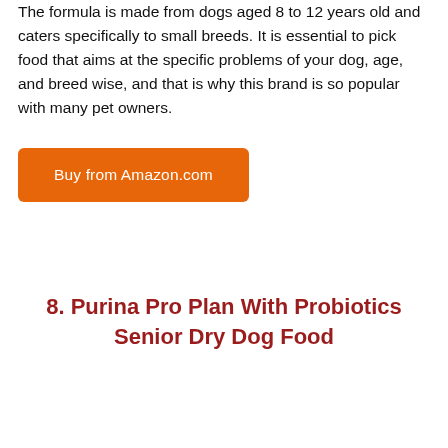The formula is made from dogs aged 8 to 12 years old and caters specifically to small breeds. It is essential to pick food that aims at the specific problems of your dog, age, and breed wise, and that is why this brand is so popular with many pet owners.
Buy from Amazon.com
8. Purina Pro Plan With Probiotics Senior Dry Dog Food